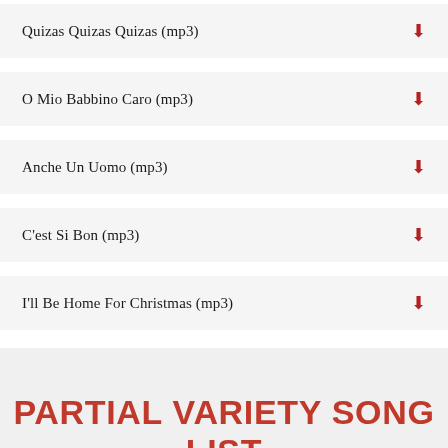Quizas Quizas Quizas (mp3)
O Mio Babbino Caro (mp3)
Anche Un Uomo (mp3)
C'est Si Bon (mp3)
I'll Be Home For Christmas (mp3)
PARTIAL VARIETY SONG LIST